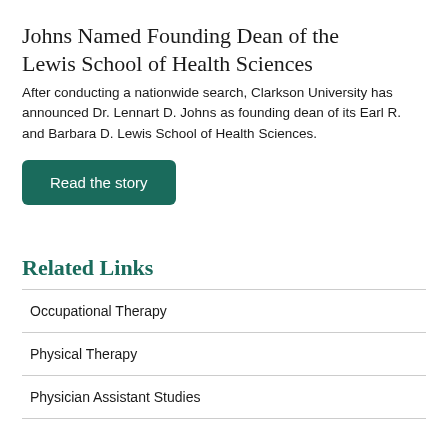Johns Named Founding Dean of the Lewis School of Health Sciences
After conducting a nationwide search, Clarkson University has announced Dr. Lennart D. Johns as founding dean of its Earl R. and Barbara D. Lewis School of Health Sciences.
Read the story
Related Links
Occupational Therapy
Physical Therapy
Physician Assistant Studies